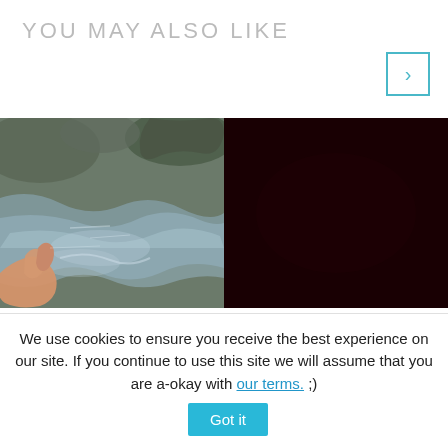YOU MAY ALSO LIKE
[Figure (photo): Navigation arrow button pointing right, outlined in teal/blue color]
[Figure (photo): A hand touching flowing water over rocks — a nature/stream photograph]
[Figure (photo): Very dark maroon/black image, nearly no detail visible]
Published
Published
We use cookies to ensure you receive the best experience on our site. If you continue to use this site we will assume that you are a-okay with our terms. ;)
Got it